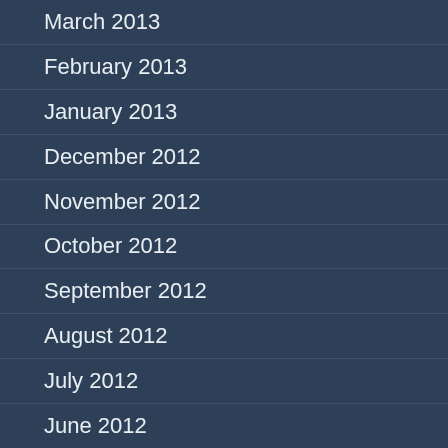March 2013
February 2013
January 2013
December 2012
November 2012
October 2012
September 2012
August 2012
July 2012
June 2012